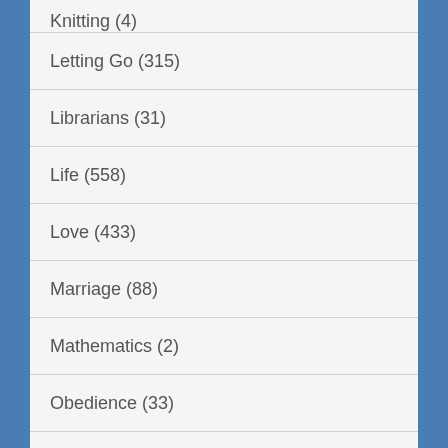Knitting (4)
Letting Go (315)
Librarians (31)
Life (558)
Love (433)
Marriage (88)
Mathematics (2)
Obedience (33)
Parenting (26)
Peace (62)